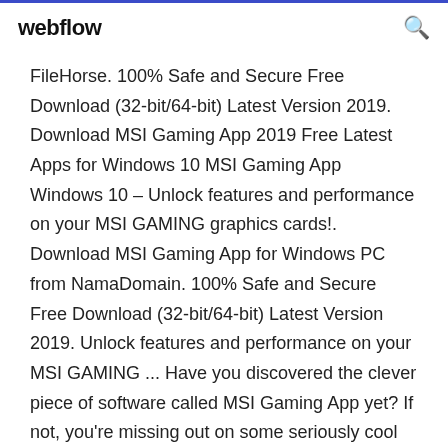webflow [search icon]
FileHorse. 100% Safe and Secure Free Download (32-bit/64-bit) Latest Version 2019. Download MSI Gaming App 2019 Free Latest Apps for Windows 10 MSI Gaming App Windows 10 – Unlock features and performance on your MSI GAMING graphics cards!. Download MSI Gaming App for Windows PC from NamaDomain. 100% Safe and Secure Free Download (32-bit/64-bit) Latest Version 2019. Unlock features and performance on your MSI GAMING ... Have you discovered the clever piece of software called MSI Gaming App yet? If not, you're missing out on some seriously cool features and yes, even some additional performance!The MSI Gaming App can be